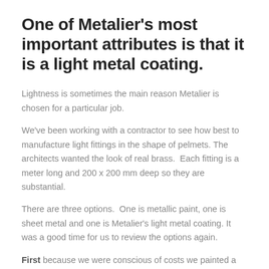One of Metalier’s most important attributes is that it is a light metal coating.
Lightness is sometimes the main reason Metalier is chosen for a particular job.
We’ve been working with a contractor to see how best to manufacture light fittings in the shape of pelmets. The architects wanted the look of real brass. Each fitting is a meter long and 200 x 200 mm deep so they are substantial.
There are three options. One is metallic paint, one is sheet metal and one is Metalier’s light metal coating. It was a good time for us to review the options again.
First because we were conscious of costs we painted a